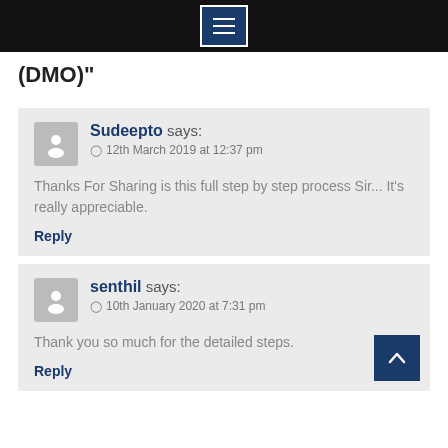(menu icon / hamburger button)
(DMO)"
Sudeepto says:
12th March 2019 at 12:37 pm
Thanks For Sharing is this full step by step process Sir... It's really appreciable.
Reply
senthil says:
10th January 2020 at 7:31 pm
Thank you so much for the detailed steps.
Reply